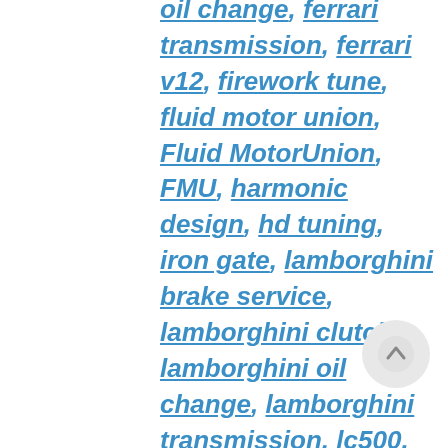oil change, ferrari transmission, ferrari v12, firework tune, fluid motor union, Fluid MotorUnion, FMU, harmonic design, hd tuning, iron gate, lamborghini brake service, lamborghini clutch, lamborghini oil change, lamborghini transmission, lc500, Lexus, mclaren exhaust, mclaren oil change, mclaren service, mclaren upgrades, naperville, Naperville auto repair, naperville emissions testing, oil change, oil change naperville, plainfield auto repair, plainfield emissions testing, Porsche, porsche maintenance, porsche repair